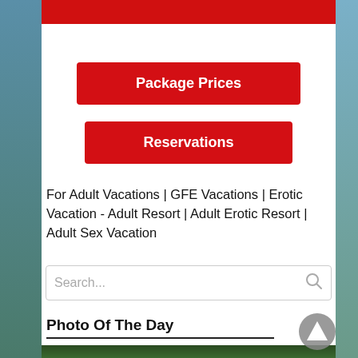[Figure (other): Red navigation bar at the top of the page]
[Figure (other): Red button labeled Package Prices]
[Figure (other): Red button labeled Reservations]
For Adult Vacations | GFE Vacations | Erotic Vacation - Adult Resort | Adult Erotic Resort | Adult Sex Vacation
[Figure (other): Search box with placeholder text Search... and a magnifier icon]
Photo Of The Day
[Figure (photo): Bottom photo strip showing tropical scenery]